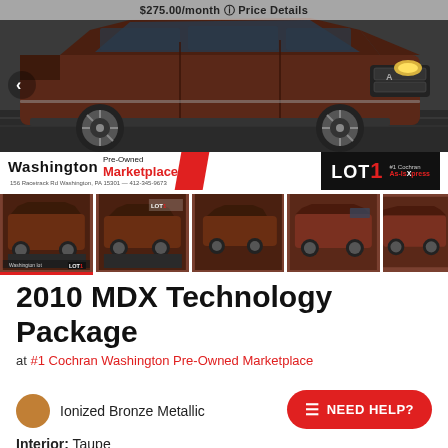[Figure (photo): Main photo of a dark maroon/brown 2010 Acura MDX SUV at a dealership, with dealer banner showing Washington Pre-Owned Marketplace and LOT1 As-Is Xpress badge]
[Figure (photo): Row of 5 thumbnail photos of the same 2010 Acura MDX from different angles, first thumbnail is highlighted with red underline]
2010 MDX Technology Package
at #1 Cochran Washington Pre-Owned Marketplace
Ionized Bronze Metallic
Interior: Taupe